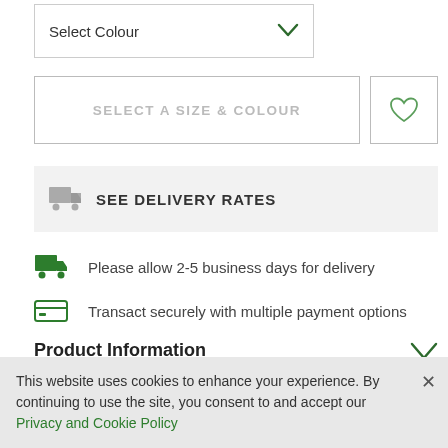Select Colour
SELECT A SIZE & COLOUR
SEE DELIVERY RATES
Please allow 2-5 business days for delivery
Transact securely with multiple payment options
Product Information
This website uses cookies to enhance your experience. By continuing to use the site, you consent to and accept our Privacy and Cookie Policy